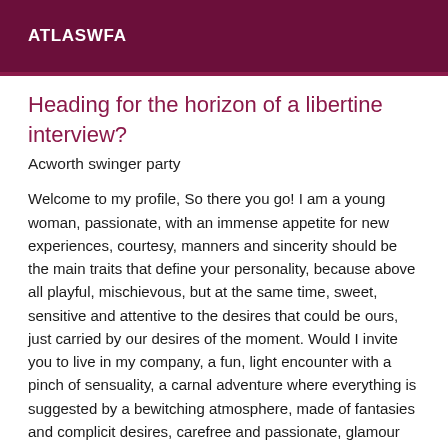ATLASWFA
Heading for the horizon of a libertine interview?
Acworth swinger party
Welcome to my profile, So there you go! I am a young woman, passionate, with an immense appetite for new experiences, courtesy, manners and sincerity should be the main traits that define your personality, because above all playful, mischievous, but at the same time, sweet, sensitive and attentive to the desires that could be ours, just carried by our desires of the moment. Would I invite you to live in my company, a fun, light encounter with a pinch of sensuality, a carnal adventure where everything is suggested by a bewitching atmosphere, made of fantasies and complicit desires, carefree and passionate, glamour mixed with seduction, in the intimacy of an unforgettable parenthesis, where